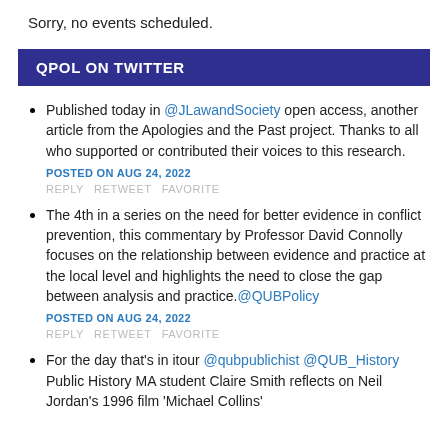Sorry, no events scheduled.
QPOL ON TWITTER
Published today in @JLawandSociety open access, another article from the Apologies and the Past project. Thanks to all who supported or contributed their voices to this research.
POSTED ON AUG 24, 2022
REPLY  RETWEET  FAVORITE
The 4th in a series on the need for better evidence in conflict prevention, this commentary by Professor David Connolly focuses on the relationship between evidence and practice at the local level and highlights the need to close the gap between analysis and practice.@QUBPolicy
POSTED ON AUG 24, 2022
REPLY  RETWEET  FAVORITE
For the day that's in itour @qubpublichist @QUB_History Public History MA student Claire Smith reflects on Neil Jordan's 1996 film 'Michael Collins'